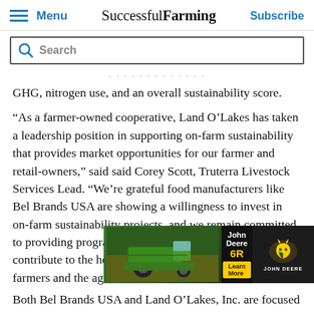Menu | Successful Farming | Subscribe
Search
GHG, nitrogen use, and an overall sustainability score.
“As a farmer-owned cooperative, Land O’Lakes has taken a leadership position in supporting on-farm sustainability that provides market opportunities for our farmer and retail-owners,” said said Corey Scott, Truterra Livestock Services Lead. “We’re grateful food manufacturers like Bel Brands USA are showing a willingness to invest in on-farm sustainability projects, and we remain committed to providing programs, tools and support that not only contribute to the health of the planet, but also position farmers and the agriculture sector for success.”
[Figure (photo): John Deere 6R advertisement banner with tractor image, Learn More button, and John Deere logo]
Both Bel Brands USA and Land O’Lakes, Inc. are focused